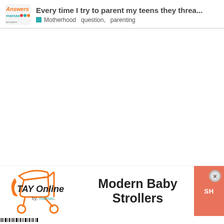Every time I try to parent my teens they threa... | Motherhood  question,  parenting
[Figure (logo): TAY Online by mamas stroller logo with orange baby carriage illustration]
Modern Baby Strollers